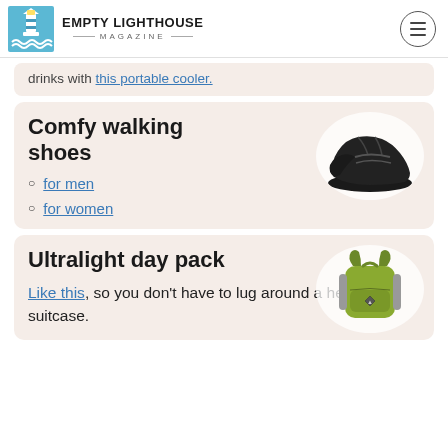EMPTY LIGHTHOUSE MAGAZINE
drinks with this portable cooler.
Comfy walking shoes
[Figure (photo): Black running/walking sneaker on white circular background]
for men
for women
Ultralight day pack
[Figure (photo): Green and gray ultralight backpack on white circular background]
Like this, so you don't have to lug around a heavy suitcase.